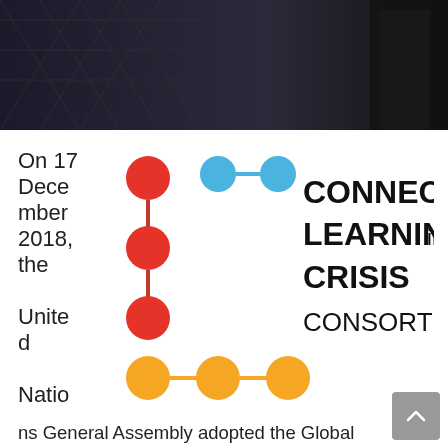[Figure (photo): Dark photographic banner with geometric pattern overlay, partially showing people in formal attire]
On 17 December 2018, the United Nations General Assembly adopted the Global Compact on Refugees (GCR), with the support of 181 countries voting in favor. The Global Compact calls for greater international responsibility sharing, additional and predictable humanitarian funding and development
[Figure (logo): Connected Learning in Crisis Consortium logo: colored circles connected by lines (red, blue, orange) alongside bold text reading CONNECTED LEARNING in CRISIS CONSORTIUM]